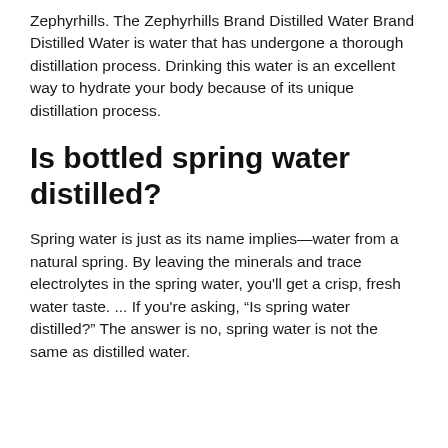Zephyrhills. The Zephyrhills Brand Distilled Water Brand Distilled Water is water that has undergone a thorough distillation process. Drinking this water is an excellent way to hydrate your body because of its unique distillation process.
Is bottled spring water distilled?
Spring water is just as its name implies—water from a natural spring. By leaving the minerals and trace electrolytes in the spring water, you'll get a crisp, fresh water taste. ... If you're asking, "Is spring water distilled?" The answer is no, spring water is not the same as distilled water.